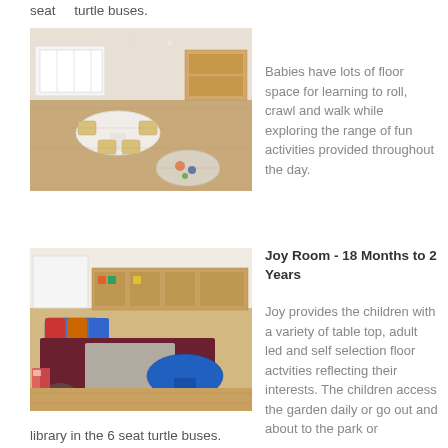seat    turtle buses.
[Figure (photo): Interior photo of a baby/toddler room with wooden floor, round white table, chairs, and play mat with toys]
Babies have lots of floor space for learning to roll, crawl and walk while exploring the range of fun activities provided throughout the day.
[Figure (photo): Interior photo of Joy Room showing a carpeted area with colourful cushions, shelving units with toys, a blue activity table, and wooden floor]
Joy Room - 18 Months to 2 Years
Joy provides the children with a variety of table top, adult led and self selection floor actvities reflecting their interests. The children access the garden daily or go out and about to the park or
library in the 6 seat turtle buses.